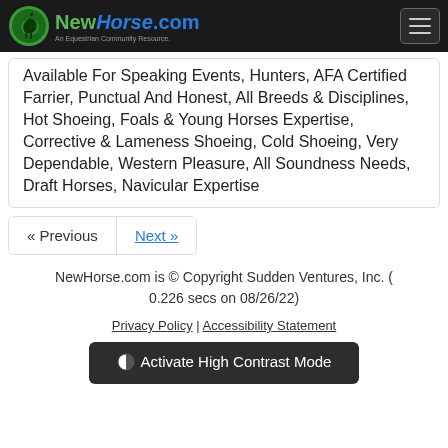NewHorse.com — An Equestrian Community Resource.
Available For Speaking Events, Hunters, AFA Certified Farrier, Punctual And Honest, All Breeds & Disciplines, Hot Shoeing, Foals & Young Horses Expertise, Corrective & Lameness Shoeing, Cold Shoeing, Very Dependable, Western Pleasure, All Soundness Needs, Draft Horses, Navicular Expertise
« Previous
Next »
NewHorse.com is © Copyright Sudden Ventures, Inc. ( 0.226 secs on 08/26/22)
Privacy Policy | Accessibility Statement
Activate High Contrast Mode